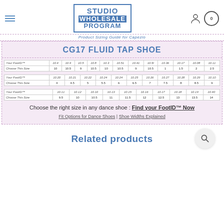Studio Wholesale Program
Product Sizing Guide for Capezio
CG17 FLUID TAP SHOE
| Your FootID™ | 10.4 | 10.9 | 10.5 | 10.8 | 10.3 | 10.51 | 10.4l | 10.5l | 10.36 | 10.17 | 10.08 | 10.11 |
| --- | --- | --- | --- | --- | --- | --- | --- | --- | --- | --- | --- | --- |
| Choose This Size | 10 | 10.5 | 9 | 10.5 | 10 | 10.5 | 9 | 10.5 | 1 | 1.5 | 2 | 2.5 |
| Your FootID™ | 10.20 | 10.21 | 10.22 | 10.24 | 10.24 | 10.25 | 10.26 | 10.27 | 10.28 | 10.29 | 10.10 |
| --- | --- | --- | --- | --- | --- | --- | --- | --- | --- | --- | --- |
| Choose This Size | 4 | 4.5 | 5 | 5.5 | 6 | 6.5 | 7 | 7.5 | 8 | 8.5 | 9 |
| Your FootID™ | 10.11 | 10.12 | 10.10 | 10.13 | 10.15 | 10.16 | 10.17 | 10.18 | 10.19 | 10.40 |
| --- | --- | --- | --- | --- | --- | --- | --- | --- | --- | --- |
| Choose This Size | 9.5 | 10 | 10.5 | 11 | 11.5 | 12 | 12.5 | 13 | 13.5 | 14 |
Choose the right size in any dance shoe : Find your FootID™ Now
Fit Options for Dance Shoes | Shoe Widths Explained
Related products